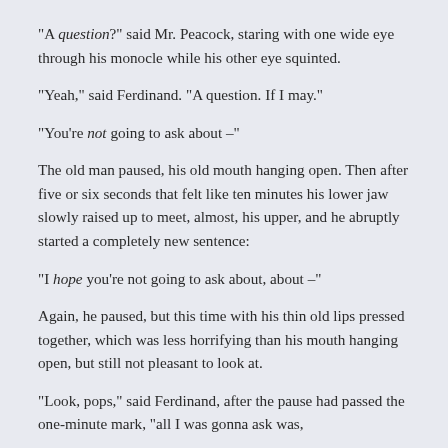“A question?” said Mr. Peacock, staring with one wide eye through his monocle while his other eye squinted.
“Yeah,” said Ferdinand. “A question. If I may.”
“You’re not going to ask about –”
The old man paused, his old mouth hanging open. Then after five or six seconds that felt like ten minutes his lower jaw slowly raised up to meet, almost, his upper, and he abruptly started a completely new sentence:
“I hope you’re not going to ask about, about –”
Again, he paused, but this time with his thin old lips pressed together, which was less horrifying than his mouth hanging open, but still not pleasant to look at.
“Look, pops,” said Ferdinand, after the pause had passed the one-minute mark, “all I was gonna ask was,